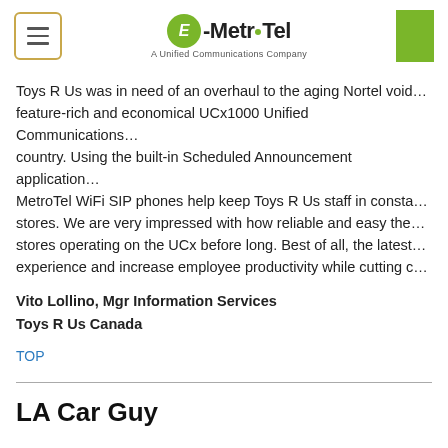E-MetroTel — A Unified Communications Company
Toys R Us was in need of an overhaul to the aging Nortel voice feature-rich and economical UCx1000 Unified Communication country. Using the built-in Scheduled Announcement applicati MetroTel WiFi SIP phones help keep Toys R Us staff in consta stores. We are very impressed with how reliable and easy the stores operating on the UCx before long. Best of all, the lates experience and increase employee productivity while cutting c
Vito Lollino, Mgr Information Services
Toys R Us Canada
TOP
LA Car Guy
[Figure (other): Yellow banner image at bottom of page]